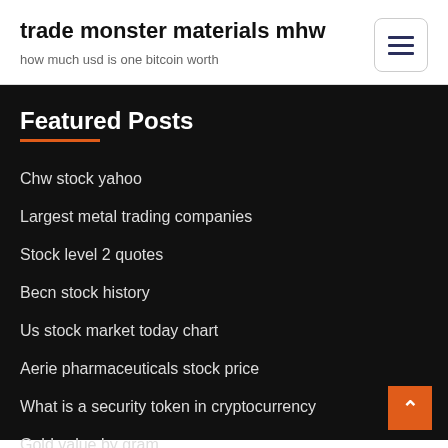trade monster materials mhw
how much usd is one bitcoin worth
Featured Posts
Chw stock yahoo
Largest metal trading companies
Stock level 2 quotes
Becn stock history
Us stock market today chart
Aerie pharmaceuticals stock price
What is a security token in cryptocurrency
Gold value by gram